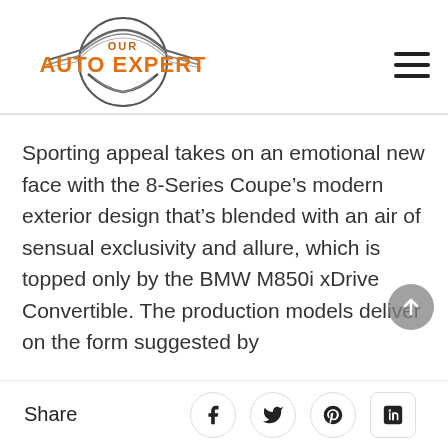Our Auto Expert
Sporting appeal takes on an emotional new face with the 8-Series Coupe’s modern exterior design that’s blended with an air of sensual exclusivity and allure, which is topped only by the BMW M850i xDrive Convertible. The production models deliver on the form suggested by
Share